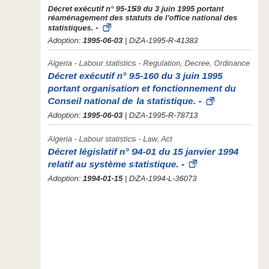Décret exécutif n° 95-159 du 3 juin 1995 portant réaménagement des statuts de l'office national des statistiques. - [external link] Adoption: 1995-06-03 | DZA-1995-R-41383
Algeria - Labour statistics - Regulation, Decree, Ordinance
Décret exécutif n° 95-160 du 3 juin 1995 portant organisation et fonctionnement du Conseil national de la statistique. - [external link] Adoption: 1995-06-03 | DZA-1995-R-78713
Algeria - Labour statistics - Law, Act
Décret législatif n° 94-01 du 15 janvier 1994 relatif au système statistique. - [external link] Adoption: 1994-01-15 | DZA-1994-L-36073